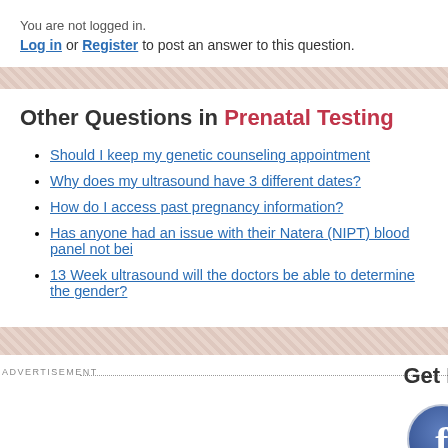You are not logged in.
Log in or Register to post an answer to this question.
Other Questions in Prenatal Testing
Should I keep my genetic counseling appointment
Why does my ultrasound have 3 different dates?
How do I access past pregnancy information?
Has anyone had an issue with their Natera (NIPT) blood panel not bei...
13 Week ultrasound will the doctors be able to determine the gender?
ADVERTISEMENT
Get Mo